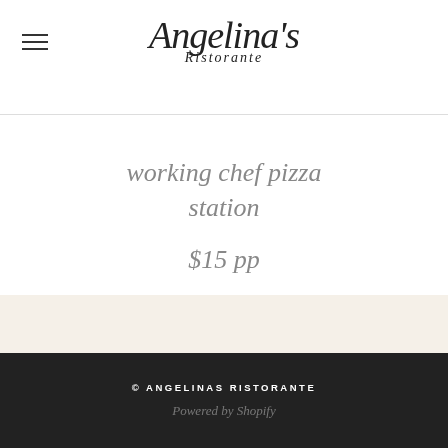Angelina's Ristorante
working chef pizza station
$15 pp
© ANGELINAS RISTORANTE
Powered by Shopify